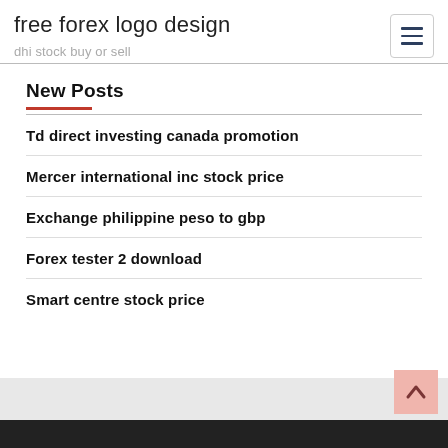free forex logo design
dhi stock buy or sell
New Posts
Td direct investing canada promotion
Mercer international inc stock price
Exchange philippine peso to gbp
Forex tester 2 download
Smart centre stock price